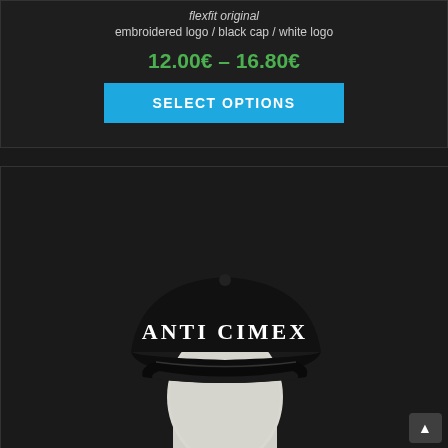flexfit original
embroidered logo / black cap / white logo
12.00€ – 16.80€
SELECT OPTIONS
[Figure (photo): Black baseball cap with white embroidered 'ANTI CIMEX' text on a mannequin head, photographed against a dark background.]